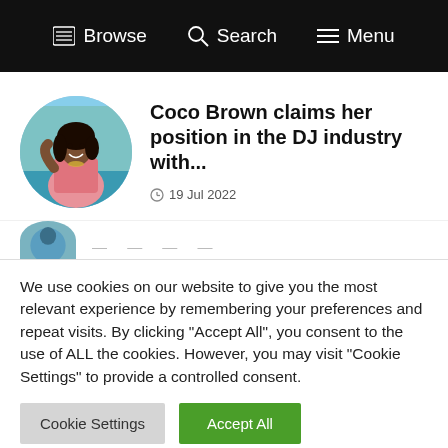Browse  Search  Menu
Coco Brown claims her position in the DJ industry with...
19 Jul 2022
[Figure (photo): Circular profile photo of a woman in a pink jacket smiling outdoors near a pool]
We use cookies on our website to give you the most relevant experience by remembering your preferences and repeat visits. By clicking "Accept All", you consent to the use of ALL the cookies. However, you may visit "Cookie Settings" to provide a controlled consent.